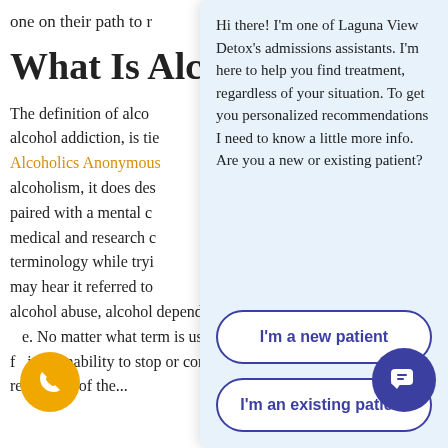one on their path to r
What Is Alco
The definition of alco alcohol addiction, is ti Alcoholics Anonymous alcoholism, it does des paired with a mental c medical and research c terminology while tryi may hear it referred to alcohol abuse, alcohol dependence, alcohol addiction, e. No matter what term is used, the defini f is an inability to stop or control alcohol us regardless of the...
[Figure (screenshot): Chat assistant overlay from Laguna View Detox with message and two buttons for new/existing patient]
[Figure (other): Yellow phone FAB button in bottom left]
[Figure (other): Purple chat FAB button in bottom right]